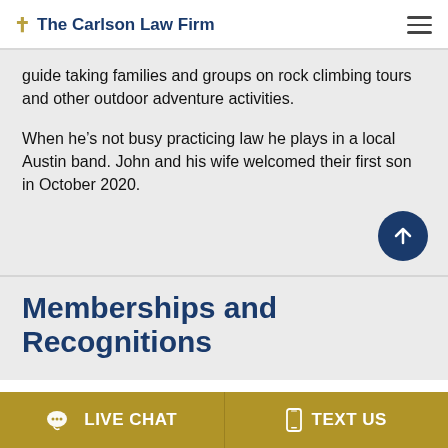The Carlson Law Firm
guide taking families and groups on rock climbing tours and other outdoor adventure activities.

When he’s not busy practicing law he plays in a local Austin band. John and his wife welcomed their first son in October 2020.
Memberships and Recognitions
LIVE CHAT   TEXT US